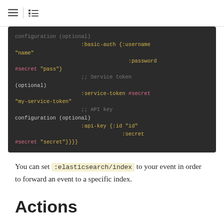[Figure (screenshot): Dark-themed code block showing Clojure/EDN configuration with :basic-auth, :service-token, and :api-key settings using #secret references]
You can set :elasticsearch/index to your event in order to forward an event to a specific index.
Actions